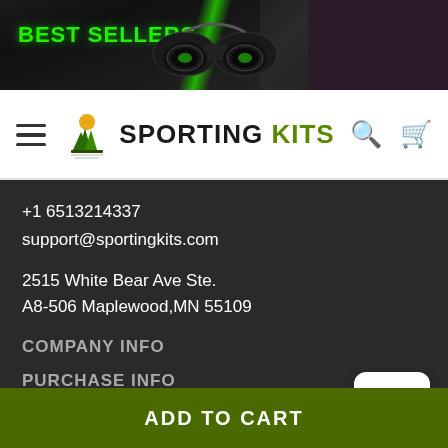[Figure (screenshot): Best Sellers banner with binoculars image, green accent stripes on dark background]
[Figure (logo): Sporting Kits logo with tree/bird silhouette and text 'SPORTING KITS']
+1 6513214337
support@sportingkits.com
2515 White Bear Ave Ste.
A8-506 Maplewood,MN 55109
COMPANY INFO
PURCHASE INFO
FAQs
ADD TO CART